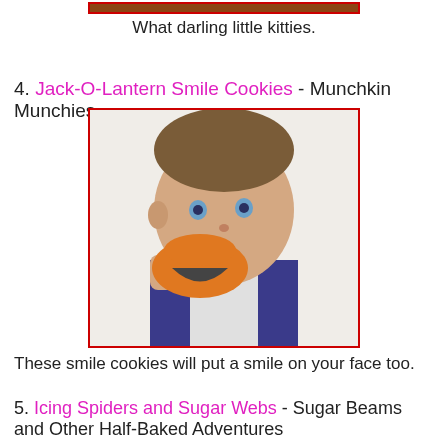[Figure (photo): Child holding an orange jack-o-lantern smile cookie up to their mouth, with a red border frame around the photo.]
What darling little kitties.
4. Jack-O-Lantern Smile Cookies - Munchkin Munchies
[Figure (photo): Young boy holding a large orange and grey jack-o-lantern smile cookie up to his mouth, looking at camera. Red border frame around photo.]
These smile cookies will put a smile on your face too.
5. Icing Spiders and Sugar Webs - Sugar Beams and Other Half-Baked Adventures